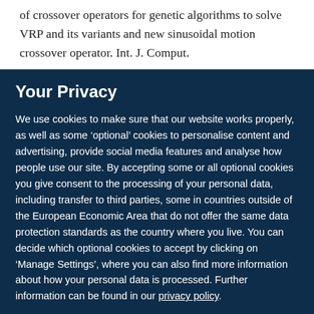of crossover operators for genetic algorithms to solve VRP and its variants and new sinusoidal motion crossover operator. Int. J. Comput.
Your Privacy
We use cookies to make sure that our website works properly, as well as some ‘optional’ cookies to personalise content and advertising, provide social media features and analyse how people use our site. By accepting some or all optional cookies you give consent to the processing of your personal data, including transfer to third parties, some in countries outside of the European Economic Area that do not offer the same data protection standards as the country where you live. You can decide which optional cookies to accept by clicking on ‘Manage Settings’, where you can also find more information about how your personal data is processed. Further information can be found in our privacy policy.
Accept all cookies
Manage preferences